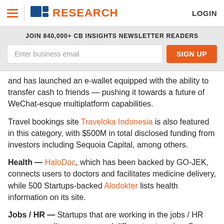CB INSIGHTS RESEARCH — LOGIN
JOIN 840,000+ CB INSIGHTS NEWSLETTER READERS
and has launched an e-wallet equipped with the ability to transfer cash to friends — pushing it towards a future of WeChat-esque multiplatform capabilities.
Travel bookings site Traveloka Indonesia is also featured in this category, with $500M in total disclosed funding from investors including Sequoia Capital, among others.
Health — HaloDoc, which has been backed by GO-JEK, connects users to doctors and facilitates medicine delivery, while 500 Startups-backed Alodokter lists health information on its site.
Jobs / HR — Startups that are working in the jobs / HR space are split across several different categories. Some, like Sribu, connect job seekers and companies. Others help companies...